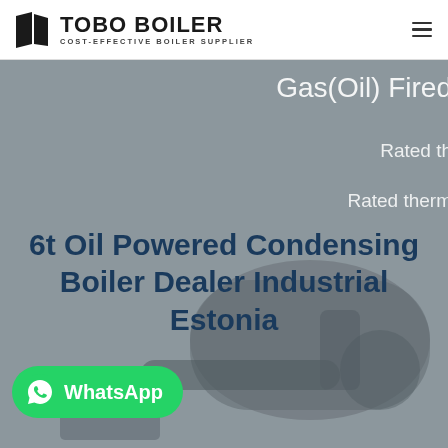[Figure (logo): TOBO BOILER logo with black geometric trapezoid icon and text 'TOBO BOILER' with subtitle 'COST-EFFECTIVE BOILER SUPPLIER']
[Figure (photo): Industrial boiler equipment photo used as hero background, muted gray-blue tones showing boiler machinery]
Gas(Oil) Fired
Rated th
Rated therm
6t Oil Powered Condensing Boiler Dealer Industrial Estonia
[Figure (other): WhatsApp contact button, green rounded rectangle with WhatsApp icon and text 'WhatsApp']